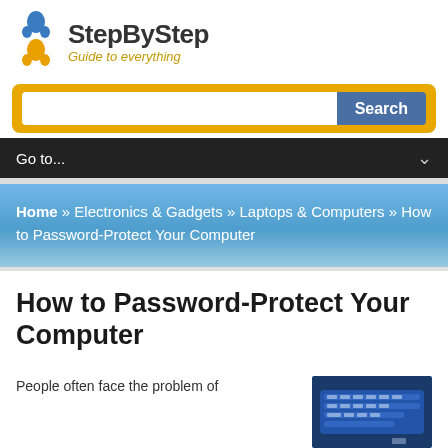StepByStep - Guide to everything
Go to...
Home » Electronics & Gadgets » Laptops & Computers » How to Password-Protect Your Computer
How to Password-Protect Your Computer
People often face the problem of
[Figure (photo): Photo of a computer keyboard with security-related imagery]